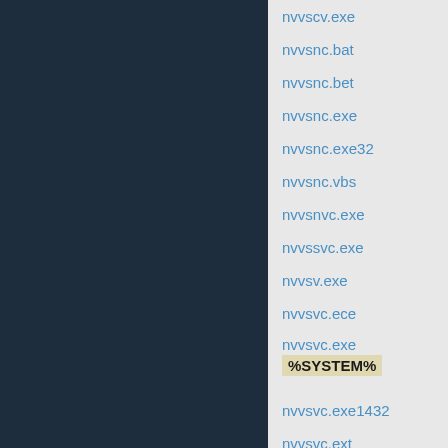nvvscv.exe
nvvsnc.bat
nvvsnc.bet
nvvsnc.exe
nvvsnc.exe32
nvvsnc.vbs
nvvsnvc.exe
nvvssvc.exe
nvvsv.exe
nvvsvc.ece
nvvsvc.exe %SYSTEM%
nvvsvc.exe1432
nvvsvc.ext
nvvsvc.ru
nvvsvc32.exe
nvvsve.exe
nvvsvk.exe
nvvsvs.ece